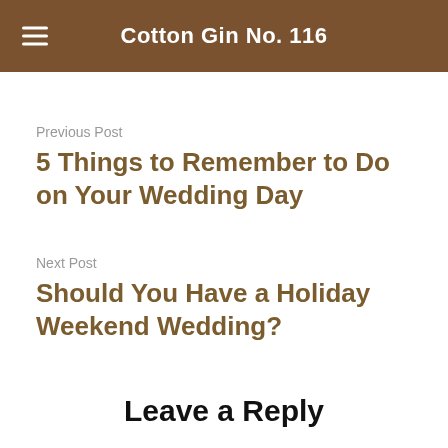Cotton Gin No. 116
Previous Post
5 Things to Remember to Do on Your Wedding Day
Next Post
Should You Have a Holiday Weekend Wedding?
Leave a Reply